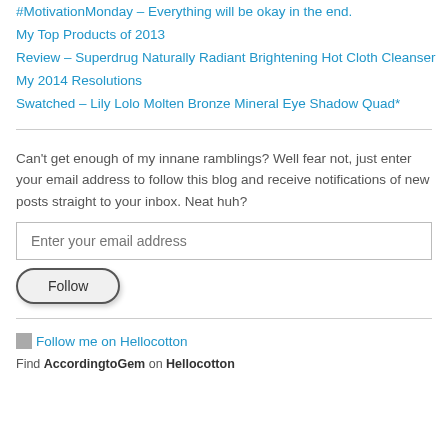#MotivationMonday – Everything will be okay in the end.
My Top Products of 2013
Review – Superdrug Naturally Radiant Brightening Hot Cloth Cleanser
My 2014 Resolutions
Swatched – Lily Lolo Molten Bronze Mineral Eye Shadow Quad*
Can't get enough of my innane ramblings? Well fear not, just enter your email address to follow this blog and receive notifications of new posts straight to your inbox. Neat huh?
Enter your email address
Follow
Follow me on Hellocotton
Find AccordingtoGem on Hellocotton